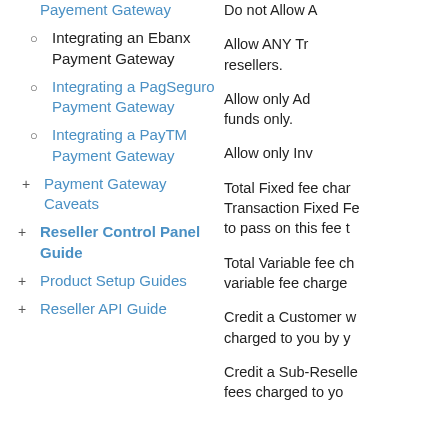Payement Gateway
Integrating an Ebanx Payment Gateway
Integrating a PagSeguro Payment Gateway
Integrating a PayTM Payment Gateway
Payment Gateway Caveats
Reseller Control Panel Guide
Product Setup Guides
Reseller API Guide
Do not Allow A
Allow ANY Tr resellers.
Allow only Ad funds only.
Allow only Inv
Total Fixed fee char Transaction Fixed Fe to pass on this fee t
Total Variable fee ch variable fee charge
Credit a Customer w charged to you by y
Credit a Sub-Reselle fees charged to yo